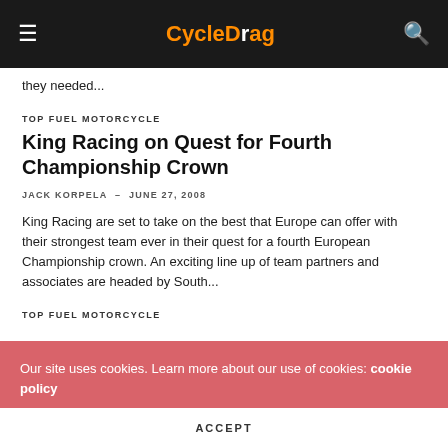CycleDrag
they needed...
TOP FUEL MOTORCYCLE
King Racing on Quest for Fourth Championship Crown
JACK KORPELA – JUNE 27, 2008
King Racing are set to take on the best that Europe can offer with their strongest team ever in their quest for a fourth European Championship crown. An exciting line up of team partners and associates are headed by South...
TOP FUEL MOTORCYCLE
Our site uses cookies. Learn more about our use of cookies: cookie policy
ACCEPT